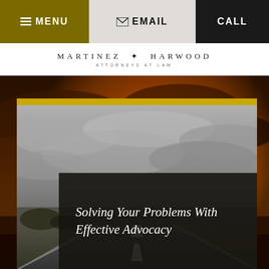≡ MENU  ✉ EMAIL  CALL
[Figure (logo): Martinez Harwood Attorneys at Law logo]
[Figure (photo): Sunset landscape with dramatic orange clouds background]
[Figure (photo): Black and white desert highway road image with card overlay]
Solving Your Problems With Effective Advocacy